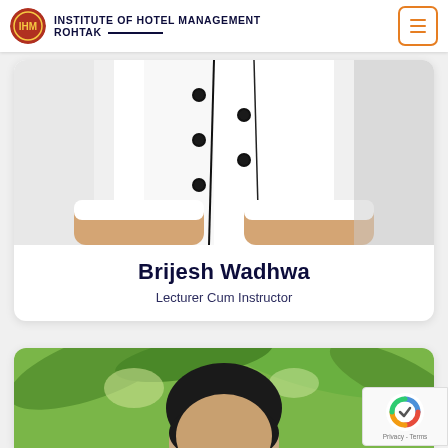INSTITUTE OF HOTEL MANAGEMENT ROHTAK
[Figure (photo): Close-up photo of a person wearing a white chef uniform with black buttons and black trim, arms crossed]
Brijesh Wadhwa
Lecturer Cum Instructor
[Figure (photo): Photo of a person with dark hair outdoors with green palm trees in the background]